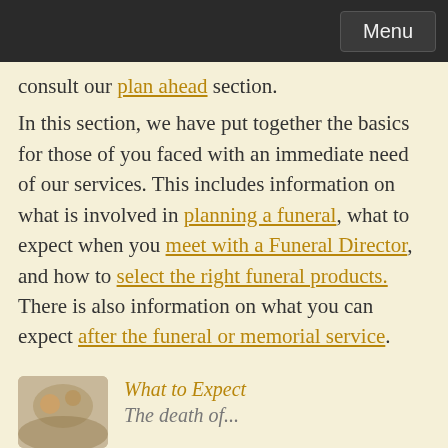Menu
consult our plan ahead section.
In this section, we have put together the basics for those of you faced with an immediate need of our services. This includes information on what is involved in planning a funeral, what to expect when you meet with a Funeral Director, and how to select the right funeral products. There is also information on what you can expect after the funeral or memorial service.
However, if you need more in-depth information on funeral planning, and wish to speak to someone directly, we invite you to contact us.
[Figure (photo): Thumbnail photograph, partially visible, appears to show outdoor scene]
What to Expect
The death of...